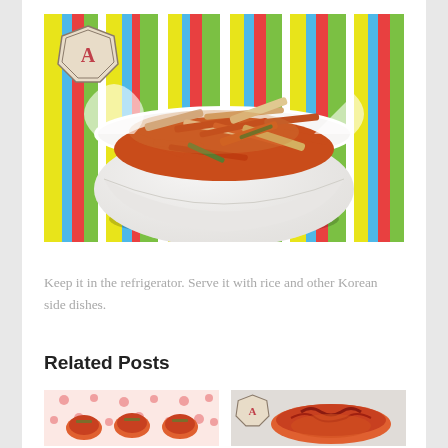[Figure (photo): A white ceramic bowl filled with shredded cabbage kimchi (yangbaechu kimchi), placed on a colorful striped tablecloth. A small logo watermark is visible in the top-left corner of the image.]
Keep it in the refrigerator. Serve it with rice and other Korean side dishes.
Related Posts
[Figure (photo): Related post thumbnail: Korean dish with red sauce on a white plate with dots.]
[Figure (photo): Related post thumbnail: Korean seafood or vegetable dish with a logo watermark.]